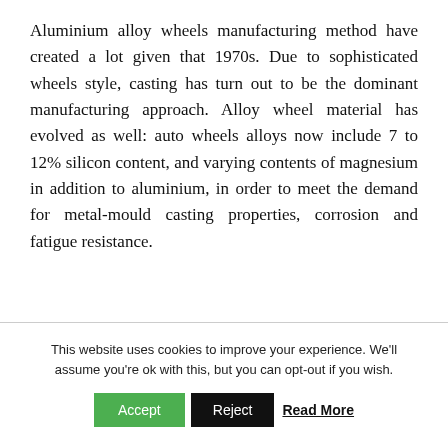Aluminium alloy wheels manufacturing method have created a lot given that 1970s. Due to sophisticated wheels style, casting has turn out to be the dominant manufacturing approach. Alloy wheel material has evolved as well: auto wheels alloys now include 7 to 12% silicon content, and varying contents of magnesium in addition to aluminium, in order to meet the demand for metal-mould casting properties, corrosion and fatigue resistance.
This website uses cookies to improve your experience. We'll assume you're ok with this, but you can opt-out if you wish. Accept Reject Read More